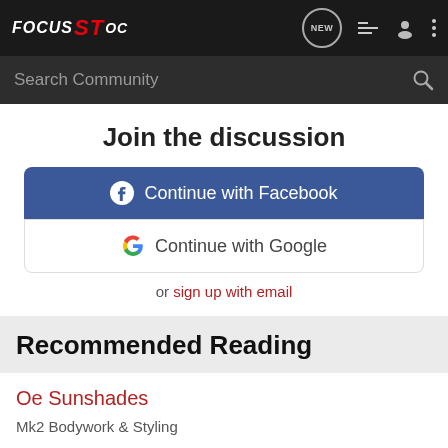FOCUS ST OC — navigation bar with logo, NEW, list, user, and more icons, plus Search Community search bar
Join the discussion
[Figure (screenshot): Continue with Facebook button (blue) and Continue with Google button (white with Google G logo)]
or sign up with email
Recommended Reading
Oe Sunshades
Mk2 Bodywork & Styling